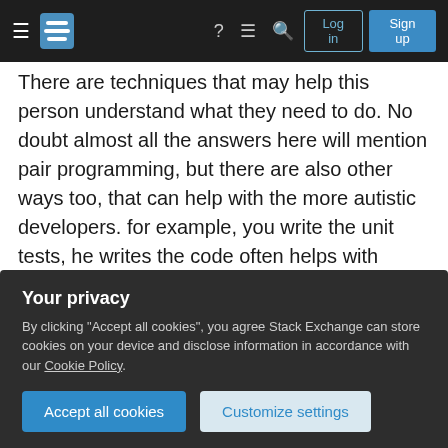Stack Exchange navigation bar with hamburger menu, logo, help, chat, search icons, Log in and Sign up buttons
There are techniques that may help this person understand what they need to do. No doubt almost all the answers here will mention pair programming, but there are also other ways too, that can help with the more autistic developers. for example, you write the unit tests, he writes the code often helps with gaining confidence and focusing the developer on the task at hand, whilst keeping some independence in his work space.
If you manage to gain their cooperation, It may also help at the planning stage to have the developer
Your privacy
By clicking "Accept all cookies", you agree Stack Exchange can store cookies on your device and disclose information in accordance with our Cookie Policy.
Accept all cookies
Customize settings